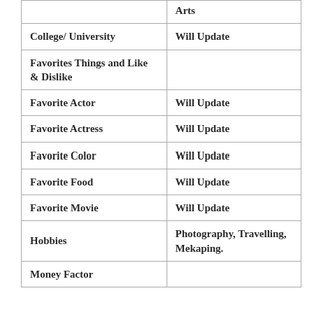| Category | Value |
| --- | --- |
|  | Arts |
| College/ University | Will Update |
| Favorites Things and Like & Dislike |  |
| Favorite Actor | Will Update |
| Favorite Actress | Will Update |
| Favorite Color | Will Update |
| Favorite Food | Will Update |
| Favorite Movie | Will Update |
| Hobbies | Photography, Travelling, Mekaping. |
| Money Factor |  |